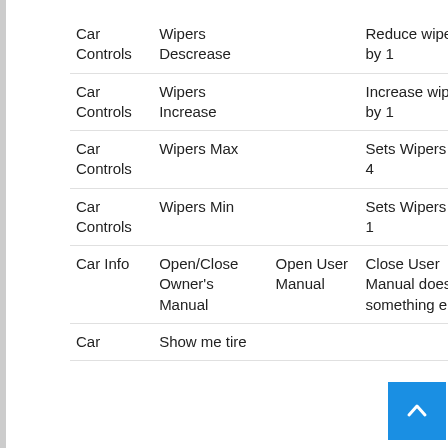| Category | Action | Detail | Description |
| --- | --- | --- | --- |
| Car Controls | Wipers Descrease |  | Reduce wipers by 1 |
| Car Controls | Wipers Increase |  | Increase wipers by 1 |
| Car Controls | Wipers Max |  | Sets Wipers to 4 |
| Car Controls | Wipers Min |  | Sets Wipers to 1 |
| Car Info | Open/Close Owner's Manual | Open User Manual | Close User Manual does something e |
| Car | Show me tire |  |  |